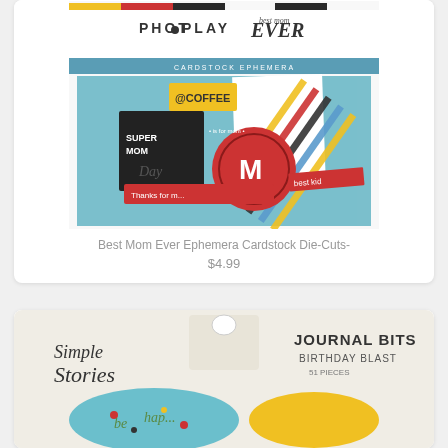[Figure (photo): PhotoPlay 'Best Mom Ever' Ephemera Cardstock Die-Cuts product package showing colorful cardstock pieces with coffee, super mom, M monogram and other embellishments]
Best Mom Ever Ephemera Cardstock Die-Cuts-
$4.99
[Figure (photo): Simple Stories 'Journal Bits - Birthday Blast' 51 pieces product package showing teal and yellow birthday-themed die cut pieces]